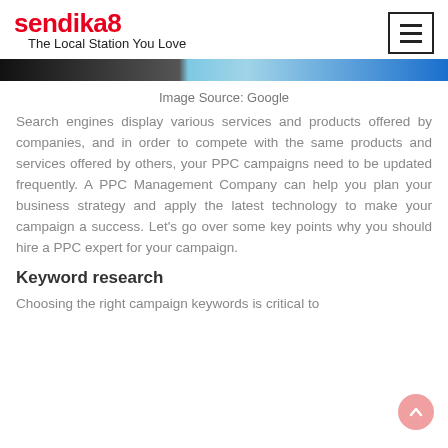sendika8
The Local Station You Love
[Figure (photo): Banner image — left portion shows a person, right portion shows a blue background with overlaid text watermark]
Image Source: Google
Search engines display various services and products offered by companies, and in order to compete with the same products and services offered by others, your PPC campaigns need to be updated frequently. A PPC Management Company can help you plan your business strategy and apply the latest technology to make your campaign a success. Let's go over some key points why you should hire a PPC expert for your campaign.
Keyword research
Choosing the right campaign keywords is critical to